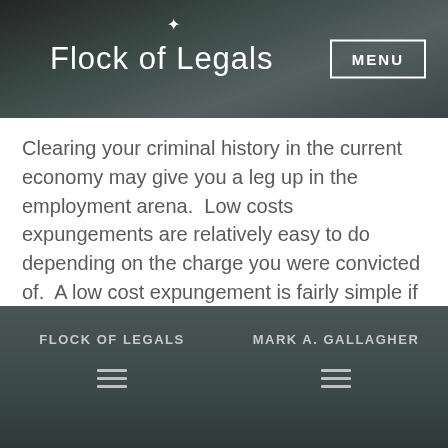Flock of Legals | MENU
Clearing your criminal history in the current economy may give you a leg up in the employment arena.  Low costs expungements are relatively easy to do depending on the charge you were convicted of.  A low cost expungement is fairly simple if the charge was a mild misdemeanor and the expungement was part of the [...]
← older
FLOCK OF LEGALS   MARK A. GALLAGHER